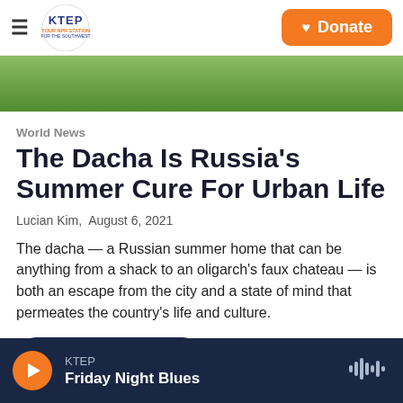KTEP — YOUR NPR STATION FOR THE SOUTHWEST | Donate
[Figure (photo): Partial photo strip showing green outdoor/nature scene, cropped at top]
World News
The Dacha Is Russia's Summer Cure For Urban Life
Lucian Kim,  August 6, 2021
The dacha — a Russian summer home that can be anything from a shack to an oligarch's faux chateau — is both an escape from the city and a state of mind that permeates the country's life and culture.
LISTEN • 7:47
KTEP  Friday Night Blues